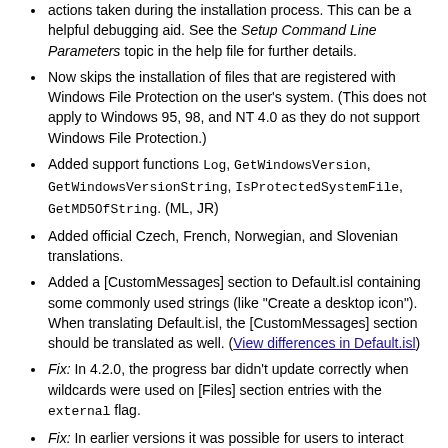actions taken during the installation process. This can be a helpful debugging aid. See the Setup Command Line Parameters topic in the help file for further details.
Now skips the installation of files that are registered with Windows File Protection on the user's system. (This does not apply to Windows 95, 98, and NT 4.0 as they do not support Windows File Protection.)
Added support functions Log, GetWindowsVersion, GetWindowsVersionString, IsProtectedSystemFile, GetMD5OfString. (ML, JR)
Added official Czech, French, Norwegian, and Slovenian translations.
Added a [CustomMessages] section to Default.isl containing some commonly used strings (like "Create a desktop icon"). When translating Default.isl, the [CustomMessages] section should be translated as well. (View differences in Default.isl)
Fix: In 4.2.0, the progress bar didn't update correctly when wildcards were used on [Files] section entries with the external flag.
Fix: In earlier versions it was possible for users to interact with Setup's UI during an InstExec call. Now, it disables the Setup window until the call returns.
Minor tweaks.
4.2.0 (2004-03-19)
[Update: In 4.2.1 and later, the following behavioral change only applies when the replacesameversion flag is used.] Changed the way Setup handles situations where a file already